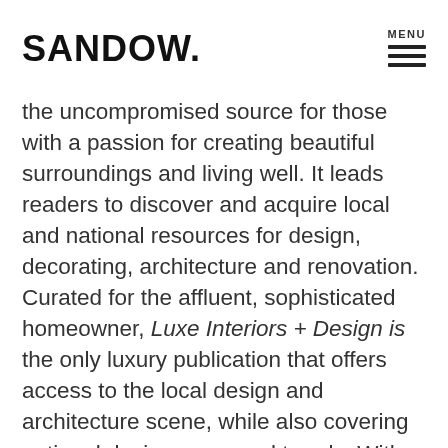SANDOW   MENU
the uncompromised source for those with a passion for creating beautiful surroundings and living well. It leads readers to discover and acquire local and national resources for design, decorating, architecture and renovation. Curated for the affluent, sophisticated homeowner, Luxe Interiors + Design is the only luxury publication that offers access to the local design and architecture scene, while also covering national design news and trends. With a quarterly distribution of 515,000, Luxe Interiors + Design reaches deep into key markets nationwide and has established itself as the largest and fastest growing network of luxury